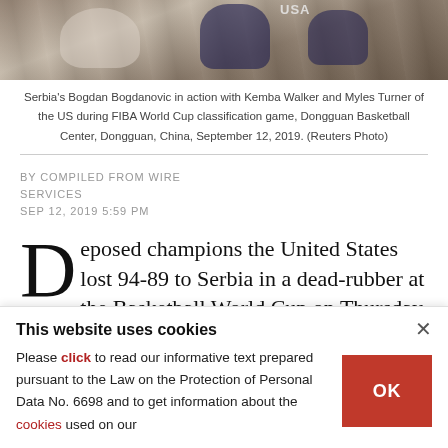[Figure (photo): Basketball game action photo showing players from Serbia and USA during FIBA World Cup classification game]
Serbia's Bogdan Bogdanovic in action with Kemba Walker and Myles Turner of the US during FIBA World Cup classification game, Dongguan Basketball Center, Dongguan, China, September 12, 2019. (Reuters Photo)
BY COMPILED FROM WIRE SERVICES
SEP 12, 2019 5:59 PM
Deposed champions the United States lost 94-89 to Serbia in a dead-rubber at the Basketball World Cup on Thursday, a day after surrendering their 13-year unbeaten run.
This website uses cookies
Please click to read our informative text prepared pursuant to the Law on the Protection of Personal Data No. 6698 and to get information about the cookies used on our